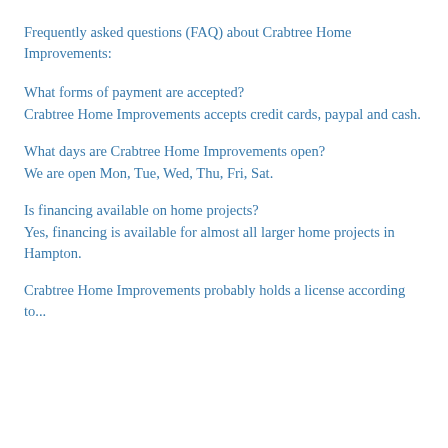Frequently asked questions (FAQ) about Crabtree Home Improvements:
What forms of payment are accepted?
Crabtree Home Improvements accepts credit cards, paypal and cash.
What days are Crabtree Home Improvements open?
We are open Mon, Tue, Wed, Thu, Fri, Sat.
Is financing available on home projects?
Yes, financing is available for almost all larger home projects in Hampton.
Crabtree Home Improvements probably holds a license according to...